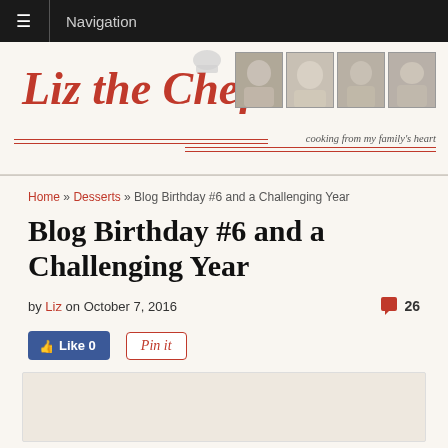Navigation
[Figure (logo): Liz the Chef blog logo with script text 'Liz the Chef', tagline 'cooking from my family's heart', decorative red lines, and four vintage family portrait photo thumbnails]
Home » Desserts » Blog Birthday #6 and a Challenging Year
Blog Birthday #6 and a Challenging Year
by Liz on October 7, 2016  💬 26
[Figure (screenshot): Social share buttons: Facebook Like (0) and Pinterest Pin it buttons]
[Figure (photo): Blog post featured image placeholder area]